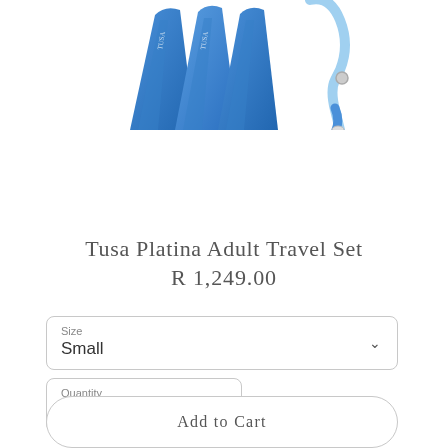[Figure (photo): Blue swimming fins/flippers and a snorkel partially visible at the top of the page against a white background]
Tusa Platina Adult Travel Set
R 1,249.00
Size
Small
Quantity
1
Add to Cart